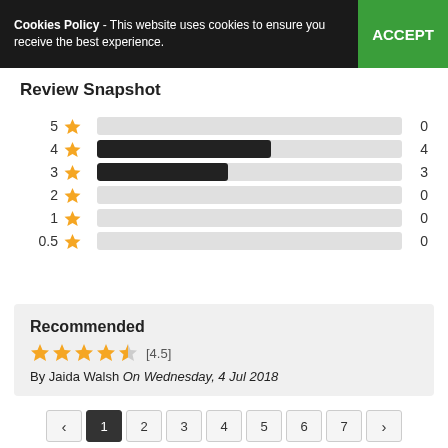Cookies Policy - This website uses cookies to ensure you receive the best experience. ACCEPT
Review Snapshot
[Figure (bar-chart): Review Snapshot]
Recommended
[4.5]
By Jaida Walsh On Wednesday, 4 Jul 2018
‹ 1 2 3 4 5 6 7 ›